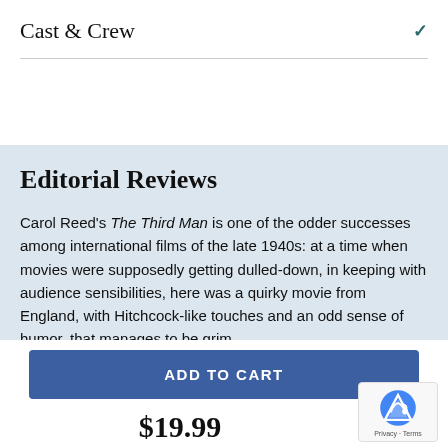Cast & Crew
Editorial Reviews
Carol Reed's The Third Man is one of the odder successes among international films of the late 1940s: at a time when movies were supposedly getting dulled-down, in keeping with audience sensibilities, here was a quirky movie from England, with Hitchcock-like touches and an odd sense of humor, that manages to be grim.
ADD TO CART
$19.99